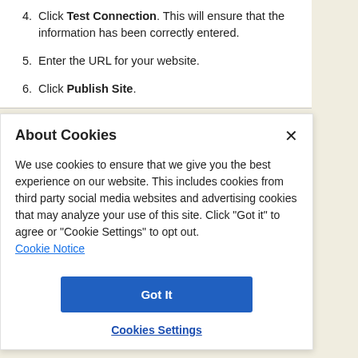4. Click Test Connection. This will ensure that the information has been correctly entered.
5. Enter the URL for your website.
6. Click Publish Site.
About Cookies
We use cookies to ensure that we give you the best experience on our website. This includes cookies from third party social media websites and advertising cookies that may analyze your use of this site. Click "Got it" to agree or "Cookie Settings" to opt out.
Cookie Notice
Got It
Cookies Settings